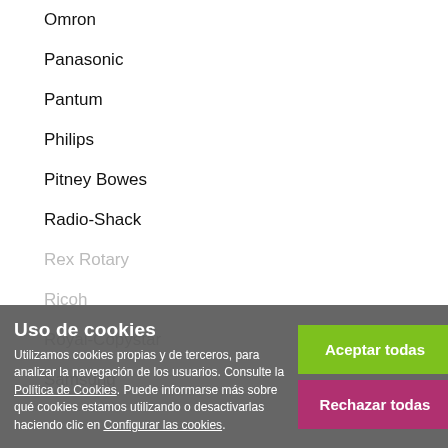Omron
Panasonic
Pantum
Philips
Pitney Bowes
Radio-Shack
Rex Rotary
Ricoh
Royal-Copystar
Samsung
Uso de cookies
Utilizamos cookies propias y de terceros, para analizar la navegación de los usuarios. Consulte la Política de Cookies. Puede informarse más sobre qué cookies estamos utilizando o desactivarlas haciendo clic en Configurar las cookies.